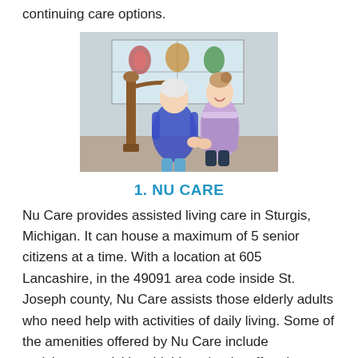continuing care options.
[Figure (photo): A nurse or caregiver in lavender scrubs helping an elderly woman with white hair walk near a staircase railing indoors. Stained glass decorations visible in the window behind them.]
1. NU CARE
Nu Care provides assisted living care in Sturgis, Michigan. It can house a maximum of 5 senior citizens at a time. With a location at 605 Lancashire, in the 49091 area code inside St. Joseph county, Nu Care assists those elderly adults who need help with activities of daily living. Some of the amenities offered by Nu Care include enrichment activities, highly trained staff and Alzheimer's care services. Nu